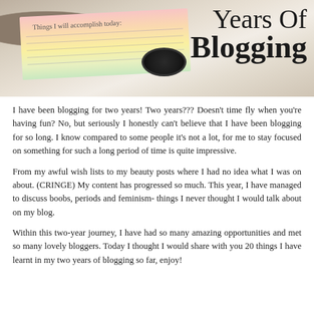[Figure (photo): A lifestyle photo showing a pink-to-yellow ombre notepad with handwritten text 'Things I will accomplish today:', a camera lens, and floral elements in the background. Bold cursive text overlay reads 'Years Of Blogging'.]
I have been blogging for two years! Two years??? Doesn't time fly when you're having fun? No, but seriously I honestly can't believe that I have been blogging for so long. I know compared to some people it's not a lot, for me to stay focused on something for such a long period of time is quite impressive.
From my awful wish lists to my beauty posts where I had no idea what I was on about. (CRINGE) My content has progressed so much. This year, I have managed to discuss boobs, periods and feminism- things I never thought I would talk about on my blog.
Within this two-year journey, I have had so many amazing opportunities and met so many lovely bloggers. Today I thought I would share with you 20 things I have learnt in my two years of blogging so far, enjoy!